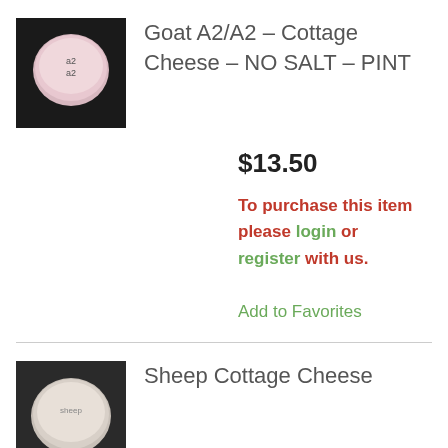[Figure (photo): Product photo of a container of Goat A2/A2 Cottage Cheese No Salt Pint, viewed from above, showing a round white/pink-lidded container on a dark background.]
Goat A2/A2 – Cottage Cheese – NO SALT – PINT
$13.50
To purchase this item please login or register with us.
Add to Favorites
[Figure (photo): Product photo of a container of Sheep Cottage Cheese, viewed from above, showing a round white-lidded container.]
Sheep Cottage Cheese